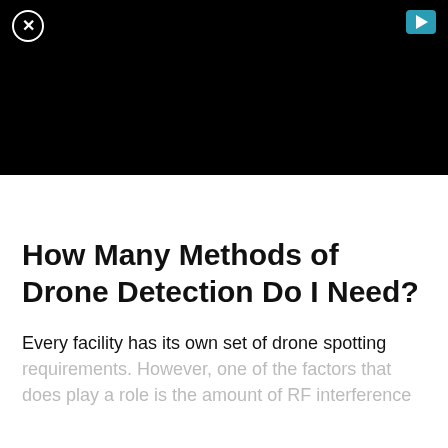[Figure (screenshot): Black video player area with a close button (circled X) in the top-left and a teal/blue play button in the top-right]
How Many Methods of Drone Detection Do I Need?
Every facility has its own set of drone spotting requirements. However, one of the factors that does play a role is the amount of RF interference